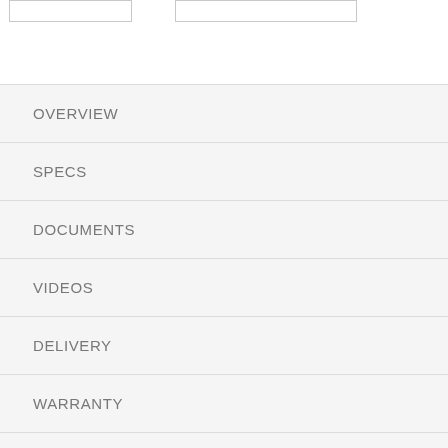OVERVIEW
SPECS
DOCUMENTS
VIDEOS
DELIVERY
WARRANTY
REVIEWS (22)